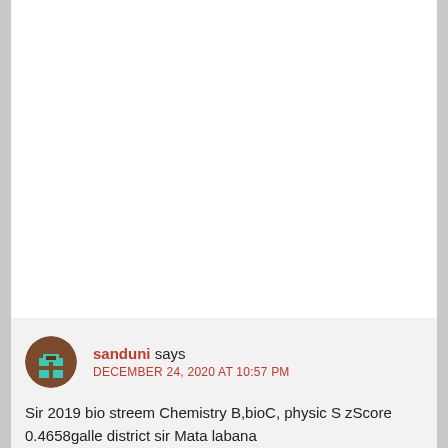[Figure (other): White rectangular content area (blank/advertisement space)]
sanduni says DECEMBER 24, 2020 AT 10:57 PM Sir 2019 bio streem Chemistry B,bioC, physic S zScore 0.4658galle district sir Mata labana